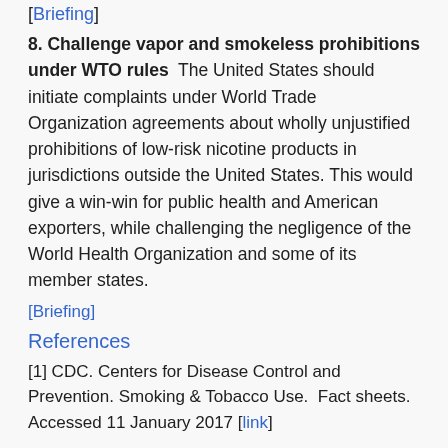[Briefing]
8. Challenge vapor and smokeless prohibitions under WTO rules  The United States should initiate complaints under World Trade Organization agreements about wholly unjustified prohibitions of low-risk nicotine products in jurisdictions outside the United States. This would give a win-win for public health and American exporters, while challenging the negligence of the World Health Organization and some of its member states.
[Briefing]
References
[1] CDC. Centers for Disease Control and Prevention. Smoking & Tobacco Use.  Fact sheets. Accessed 11 January 2017 [link]